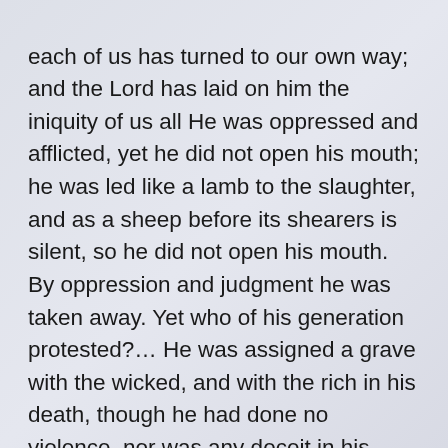each of us has turned to our own way; and the Lord has laid on him the iniquity of us all He was oppressed and afflicted, yet he did not open his mouth; he was led like a lamb to the slaughter, and as a sheep before its shearers is silent, so he did not open his mouth. By oppression and judgment he was taken away. Yet who of his generation protested?… He was assigned a grave with the wicked, and with the rich in his death, though he had done no violence, nor was any deceit in his mouth.
← Previous Article    Next Article →